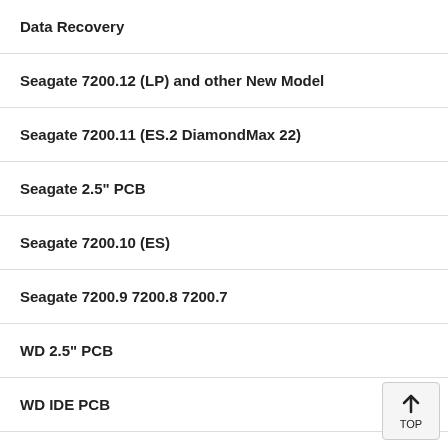Data Recovery
Seagate 7200.12 (LP) and other New Model
Seagate 7200.11 (ES.2 DiamondMax 22)
Seagate 2.5" PCB
Seagate 7200.10 (ES)
Seagate 7200.9 7200.8 7200.7
WD 2.5" PCB
WD IDE PCB